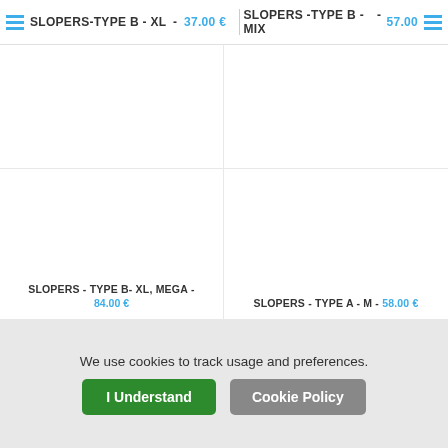SLOPERS-TYPE B - XL - 37.00€    SLOPERS -TYPE B - MIX - 57.00
SLOPERS - TYPE B- XL, MEGA - 84.00€
SLOPERS - TYPE A - M - 58.00€
We use cookies to track usage and preferences.
I Understand
Cookie Policy